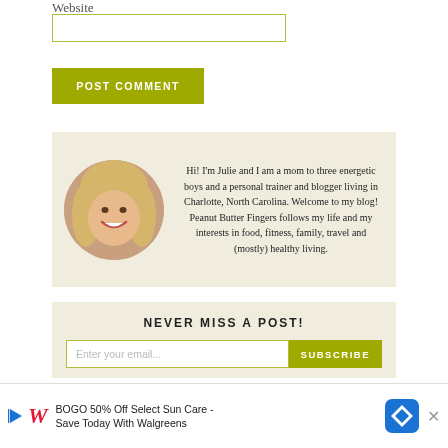Website
POST COMMENT
[Figure (photo): Circular profile photo of Julie, a woman with blonde hair, smiling, on a warm background]
Hi! I'm Julie and I am a mom to three energetic boys and a personal trainer and blogger living in Charlotte, North Carolina. Welcome to my blog! Peanut Butter Fingers follows my life and my interests in food, fitness, family, travel and (mostly) healthy living.
NEVER MISS A POST!
Enter your email...
SUBSCRIBE
[Figure (infographic): Row of social media icons: Facebook, Twitter, Instagram, Pinterest, and one more (heart/Bloglovin)]
BOGO 50% Off Select Sun Care - Save Today With Walgreens